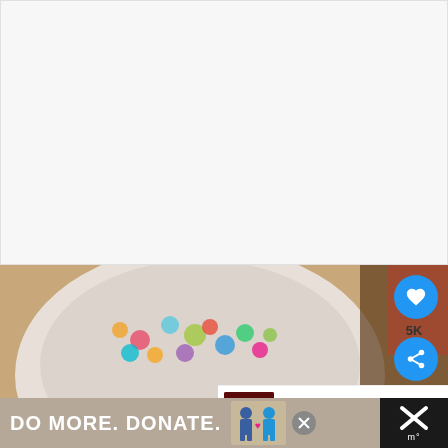[Figure (photo): White area at top (blank/white content area of a webpage)]
[Figure (photo): Photo of a white bowl filled with colorful candy pieces (M&Ms or similar), blurred background. A spoon with colorful candies is in the foreground. A circular teal/blue button with a heart icon and '5K' label and a share button are overlaid on the right side. A 'WHAT'S NEXT' panel shows a thumbnail of Peppermint Kiss Browni... A banner ad at the bottom reads 'DO MORE. DONATE.' with illustrated figures and a close button.]